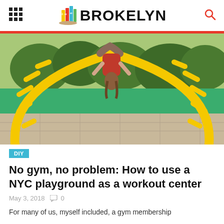BROKELYN
[Figure (photo): A person hanging upside down from a yellow arch-shaped playground structure outdoors, with green graffiti wall and concrete ground visible in the background.]
DIY
No gym, no problem: How to use a NYC playground as a workout center
May 3, 2018  0
For many of us, myself included, a gym membership